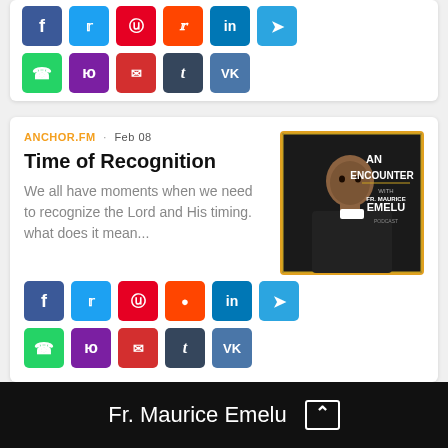[Figure (screenshot): Social share buttons row (partial top card): Facebook, Twitter, Pinterest, Reddit, LinkedIn, Telegram in first row; WhatsApp, Yandex, Email, Tumblr, VK in second row]
ANCHOR.FM · Feb 08
Time of Recognition
We all have moments when we need to recognize the Lord and His timing. what does it mean...
[Figure (illustration): Podcast cover art: 'An Encounter with Fr. Maurice Emelu Podcast' — dark background with photo of a man in clerical collar, gold border]
[Figure (screenshot): Social share buttons: Facebook, Twitter, Pinterest, Reddit, LinkedIn, Telegram (row 1); WhatsApp, Yandex, Email, Tumblr, VK (row 2)]
Fr. Maurice Emelu ^